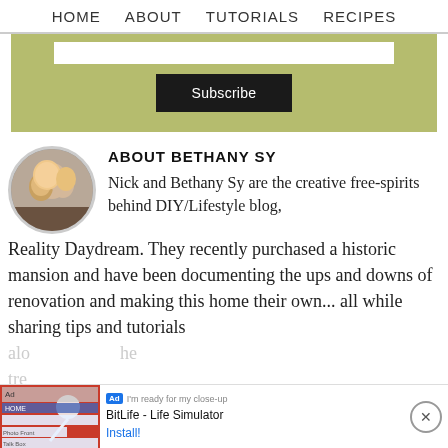HOME   ABOUT   TUTORIALS   RECIPES
[Figure (screenshot): Green subscribe block with white input box and black Subscribe button]
ABOUT BETHANY SY
Nick and Bethany Sy are the creative free-spirits behind DIY/Lifestyle blog, Reality Daydream. They recently purchased a historic mansion and have been documenting the ups and downs of renovation and making this home their own... all while sharing tips and tutorials along the way. He and she
[Figure (screenshot): BitLife Life Simulator advertisement banner at page bottom]